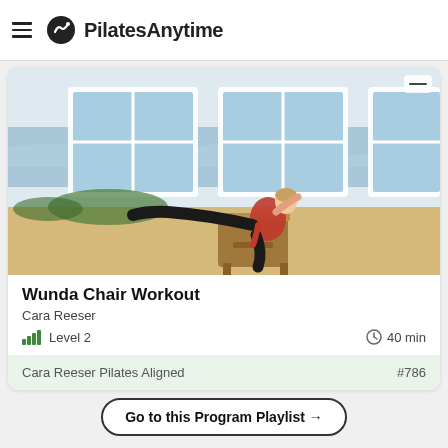PilatesAnytime
[Figure (photo): A woman performing a Pilates exercise on a Wunda Chair apparatus. She is wearing a red top and black pants, with one leg extended. The setting is a bright studio with large windows overlooking the ocean/beach.]
Wunda Chair Workout
Cara Reeser
Level 2  40 min
Cara Reeser Pilates Aligned  #786
Go to this Program Playlist →